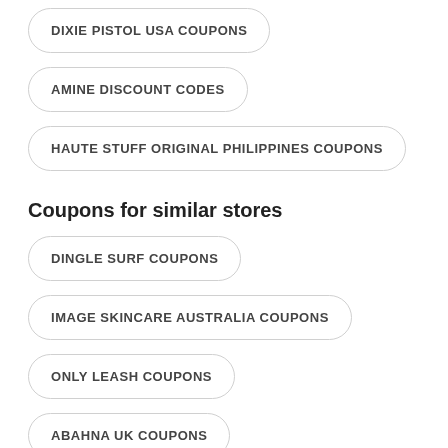DIXIE PISTOL USA COUPONS
AMINE DISCOUNT CODES
HAUTE STUFF ORIGINAL PHILIPPINES COUPONS
Coupons for similar stores
DINGLE SURF COUPONS
IMAGE SKINCARE AUSTRALIA COUPONS
ONLY LEASH COUPONS
ABAHNA UK COUPONS